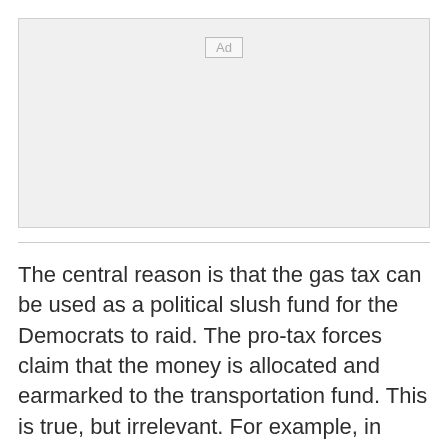[Figure (other): Advertisement placeholder box with 'Ad' label]
The central reason is that the gas tax can be used as a political slush fund for the Democrats to raid. The pro-tax forces claim that the money is allocated and earmarked to the transportation fund. This is true, but irrelevant. For example, in 2010 Massachusetts' drivers had to cough up an extra 2.5 cents a gallon in order to pay for